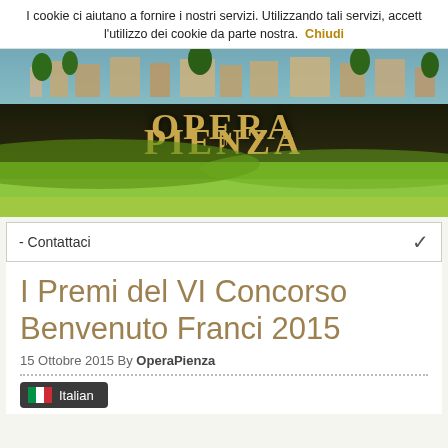I cookie ci aiutano a fornire i nostri servizi. Utilizzando tali servizi, accett l'utilizzo dei cookie da parte nostra. Chiudi
[Figure (illustration): Opera Pienza website header banner: landscape photo of Pienza hilltop town with green Tuscan countryside, overlaid with golden stylized 'OPERA PIENZA' logo text]
- Contattaci
I Premi del VI Concorso Benvenuto Franci 2015
15 Ottobre 2015 By OperaPienza